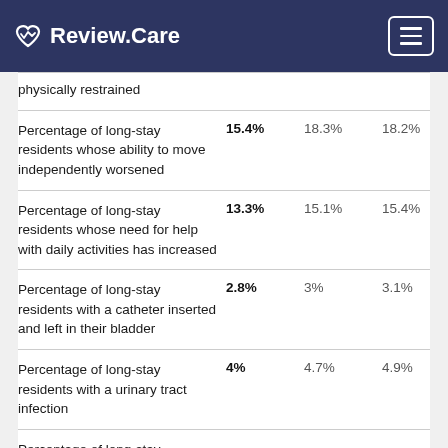Review.Care
| Measure | This Facility | State Avg | National Avg |
| --- | --- | --- | --- |
| physically restrained |  |  |  |
| Percentage of long-stay residents whose ability to move independently worsened | 15.4% | 18.3% | 18.2% |
| Percentage of long-stay residents whose need for help with daily activities has increased | 13.3% | 15.1% | 15.4% |
| Percentage of long-stay residents with a catheter inserted and left in their bladder | 2.8% | 3% | 3.1% |
| Percentage of long-stay residents with a urinary tract infection | 4% | 4.7% | 4.9% |
| Percentage of long-stay residents... | ... | ... | ... |